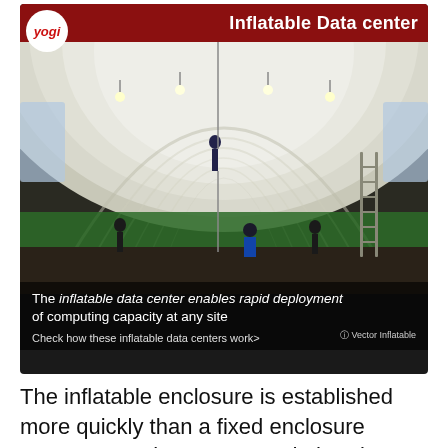[Figure (photo): Interior of a large inflatable dome structure being set up. Workers visible inside the inflated white tunnel-like enclosure with green walls at the base. Lights hang from the ceiling. A ladder is visible on the right side. The image has a dark header bar reading 'Inflatable Data center' with a 'yogi' logo in a white circle at top left. Overlay text at the bottom reads: 'The inflatable data center enables rapid deployment of computing capacity at any site' and 'Check how these inflatable data centers work>' with credit to Vector Inflatable.]
The inflatable enclosure is established more quickly than a fixed enclosure structure can be constructed, thereby